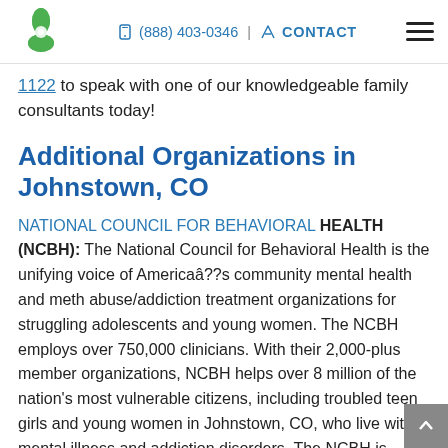(888) 403-0346 | CONTACT
1122 to speak with one of our knowledgeable family consultants today!
Additional Organizations in Johnstown, CO
NATIONAL COUNCIL FOR BEHAVIORAL HEALTH (NCBH): The National Council for Behavioral Health is the unifying voice of Americaâ??s community mental health and meth abuse/addiction treatment organizations for struggling adolescents and young women. The NCBH employs over 750,000 clinicians. With their 2,000-plus member organizations, NCBH helps over 8 million of the nation's most vulnerable citizens, including troubled teen girls and young women in Johnstown, CO, who live with mental illness and addiction disorders. The NCBH is dedicated to